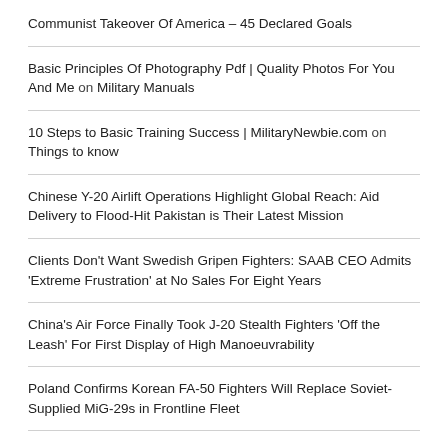Communist Takeover Of America – 45 Declared Goals
Basic Principles Of Photography Pdf | Quality Photos For You And Me on Military Manuals
10 Steps to Basic Training Success | MilitaryNewbie.com on Things to know
Chinese Y-20 Airlift Operations Highlight Global Reach: Aid Delivery to Flood-Hit Pakistan is Their Latest Mission
Clients Don't Want Swedish Gripen Fighters: SAAB CEO Admits 'Extreme Frustration' at No Sales For Eight Years
China's Air Force Finally Took J-20 Stealth Fighters 'Off the Leash' For First Display of High Manoeuvrability
Poland Confirms Korean FA-50 Fighters Will Replace Soviet-Supplied MiG-29s in Frontline Fleet
Britain's Troubled New Aircraft Carrier Suffers Another Accident: